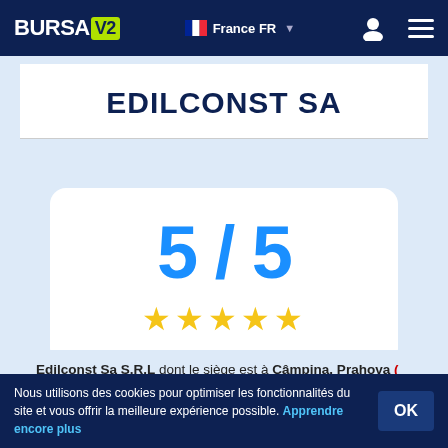BURSA V2 | France FR
EDILCONST SA
[Figure (infographic): Rating display showing 5/5 with five gold stars]
Edilconst Sa S.R.L dont le siège est à Câmpina, Prahova ( impliqué dans un certain nombre de 42 cas ), est assujetti à la TVA depuis
Nous utilisons des cookies pour optimiser les fonctionnalités du site et vous offrir la meilleure expérience possible. Apprendre encore plus OK